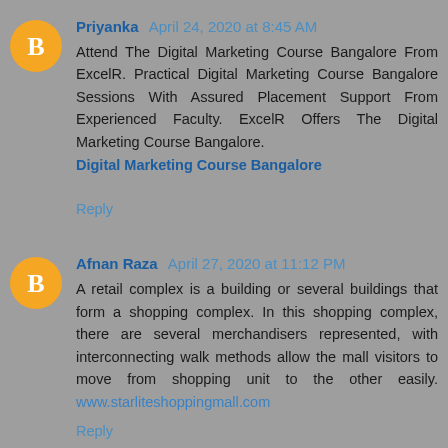Priyanka April 24, 2020 at 8:45 AM
Attend The Digital Marketing Course Bangalore From ExcelR. Practical Digital Marketing Course Bangalore Sessions With Assured Placement Support From Experienced Faculty. ExcelR Offers The Digital Marketing Course Bangalore.
Digital Marketing Course Bangalore
Reply
Afnan Raza April 27, 2020 at 11:12 PM
A retail complex is a building or several buildings that form a shopping complex. In this shopping complex, there are several merchandisers represented, with interconnecting walk methods allow the mall visitors to move from shopping unit to the other easily. www.starliteshoppingmall.com
Reply
Afan Raza April 27, 2020 at 11:12 PM